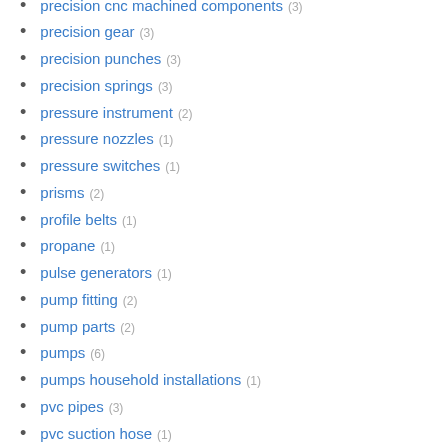precision cnc machined components (3)
precision gear (3)
precision punches (3)
precision springs (3)
pressure instrument (2)
pressure nozzles (1)
pressure switches (1)
prisms (2)
profile belts (1)
propane (1)
pulse generators (1)
pump fitting (2)
pump parts (2)
pumps (6)
pumps household installations (1)
pvc pipes (3)
pvc suction hose (1)
quenching oil (1)
rare earth magnets (1)
rebar coupler (1)
reduction gearbox spares (5)
reduction gears (4)
reed valve (1)